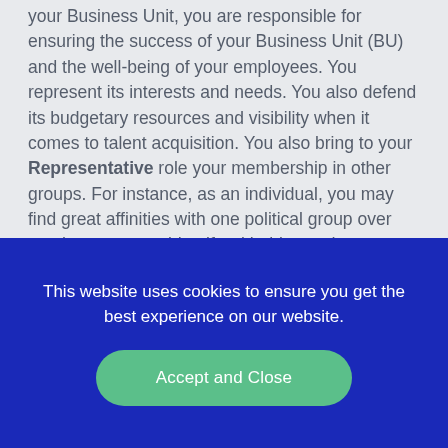your Business Unit, you are responsible for ensuring the success of your Business Unit (BU) and the well-being of your employees. You represent its interests and needs. You also defend its budgetary resources and visibility when it comes to talent acquisition. You also bring to your Representative role your membership in other groups. For instance, as an individual, you may find great affinities with one political group over another; you may identify with this gender group; this racial group; this cultural group; this religious group; and so forth. Add to this the fact that you bring to your Representative role your unique worldview that
This website uses cookies to ensure you get the best experience on our website.
Accept and Close